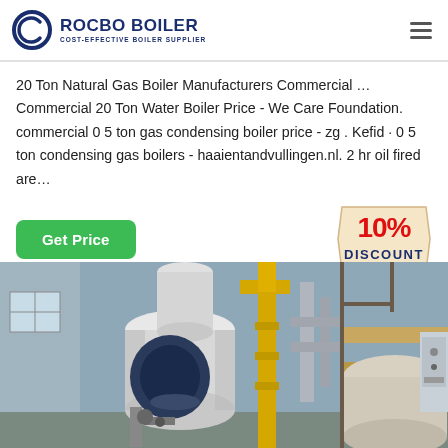[Figure (logo): Rocbo Boiler logo with circular C icon and tagline 'COST-EFFECTIVE BOILER SUPPLIER']
20 Ton Natural Gas Boiler Manufacturers Commercial … Commercial 20 Ton Water Boiler Price - We Care Foundation. commercial 0 5 ton gas condensing boiler price - zg . Kefid · 0 5 ton condensing gas boilers - haaientandvullingen.nl. 2 hr oil fired are…
[Figure (infographic): 10% DISCOUNT badge/sticker in red text on a beige tag shape]
[Figure (photo): Industrial gas boiler equipment in a factory setting, showing large cylindrical boilers, yellow and silver pipes, and control equipment]
Get Price